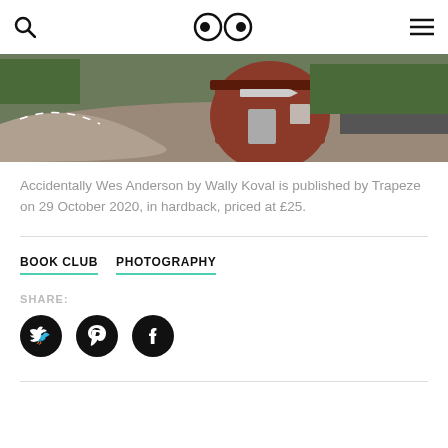Search | Logo | Menu
[Figure (photo): Aerial or elevated view of a circular red/rust-colored building beside a curving road, with trees in the background]
Accidentally Wes Anderson by Wally Koval is published by Trapeze on 29 October 2020, in hardback, priced at £25.
BOOK CLUB   PHOTOGRAPHY
SHARE:
[Figure (illustration): Three social media icon circles: Twitter (bird), Pinterest (P), Facebook (f)]